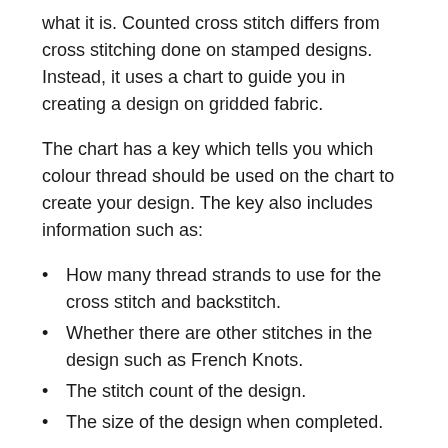what it is. Counted cross stitch differs from cross stitching done on stamped designs. Instead, it uses a chart to guide you in creating a design on gridded fabric.
The chart has a key which tells you which colour thread should be used on the chart to create your design. The key also includes information such as:
How many thread strands to use for the cross stitch and backstitch.
Whether there are other stitches in the design such as French Knots.
The stitch count of the design.
The size of the design when completed.
When starting to learn how to cross stitch, always pick charts that are designed specifically for beginners.